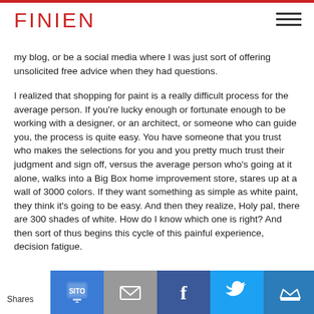FINIEN
my blog, or be a social media where I was just sort of offering unsolicited free advice when they had questions.
I realized that shopping for paint is a really difficult process for the average person. If you're lucky enough or fortunate enough to be working with a designer, or an architect, or someone who can guide you, the process is quite easy. You have someone that you trust who makes the selections for you and you pretty much trust their judgment and sign off, versus the average person who's going at it alone, walks into a Big Box home improvement store, stares up at a wall of 3000 colors. If they want something as simple as white paint, they think it's going to be easy. And then they realize, Holy pal, there are 300 shades of white. How do I know which one is right? And then sort of thus begins this cycle of this painful experience, decision fatigue.
Shares